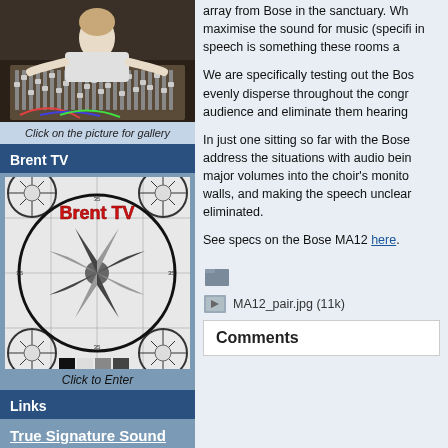[Figure (photo): Person at a mixing board/audio console in a studio setting]
Click on the picture for gallery
Brent TV
[Figure (illustration): Brent TV test card/television test pattern with 'Brent TV' text in red]
Click to Enter
Links
True Signature Sound
array from Bose in the sanctuary. Wh maximise the sound for music (specifi in speech is something these rooms a
We are specifically testing out the Bos evenly disperse throughout the congr audience and eliminate them hearing
In just one sitting so far with the Bose address the situations with audio bein major volumes into the choir's monito walls, and making the speech unclear eliminated.
See specs on the Bose MA12 here.
[Figure (other): Folder icon]
MA12_pair.jpg (11k)
Comments